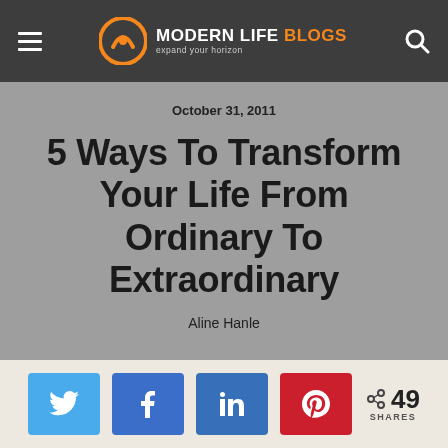MODERN LIFE BLOGS — expand your horizon
October 31, 2011
5 Ways To Transform Your Life From Ordinary To Extraordinary
Aline Hanle
[Figure (infographic): Social share buttons: Twitter, Facebook, LinkedIn, Pinterest. Share count: 49 SHARES.]